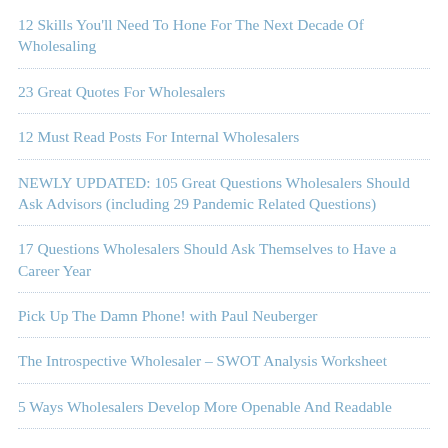12 Skills You'll Need To Hone For The Next Decade Of Wholesaling
23 Great Quotes For Wholesalers
12 Must Read Posts For Internal Wholesalers
NEWLY UPDATED: 105 Great Questions Wholesalers Should Ask Advisors (including 29 Pandemic Related Questions)
17 Questions Wholesalers Should Ask Themselves to Have a Career Year
Pick Up The Damn Phone! with Paul Neuberger
The Introspective Wholesaler – SWOT Analysis Worksheet
5 Ways Wholesalers Develop More Openable And Readable